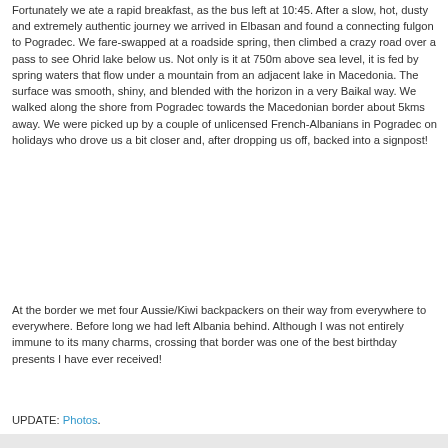Fortunately we ate a rapid breakfast, as the bus left at 10:45. After a slow, hot, dusty and extremely authentic journey we arrived in Elbasan and found a connecting fulgon to Pogradec. We fare-swapped at a roadside spring, then climbed a crazy road over a pass to see Ohrid lake below us. Not only is it at 750m above sea level, it is fed by spring waters that flow under a mountain from an adjacent lake in Macedonia. The surface was smooth, shiny, and blended with the horizon in a very Baikal way. We walked along the shore from Pogradec towards the Macedonian border about 5kms away. We were picked up by a couple of unlicensed French-Albanians in Pogradec on holidays who drove us a bit closer and, after dropping us off, backed into a signpost!
At the border we met four Aussie/Kiwi backpackers on their way from everywhere to everywhere. Before long we had left Albania behind. Although I was not entirely immune to its many charms, crossing that border was one of the best birthday presents I have ever received!
UPDATE: Photos.